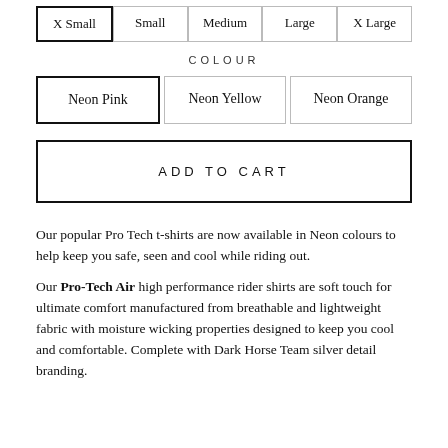X Small | Small | Medium | Large | X Large
COLOUR
Neon Pink | Neon Yellow | Neon Orange
ADD TO CART
Our popular Pro Tech t-shirts are now available in Neon colours to help keep you safe, seen and cool while riding out.
Our Pro-Tech Air high performance rider shirts are soft touch for ultimate comfort manufactured from breathable and lightweight fabric with moisture wicking properties designed to keep you cool and comfortable. Complete with Dark Horse Team silver detail branding.